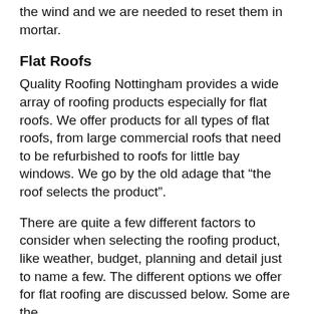the wind and we are needed to reset them in mortar.
Flat Roofs
Quality Roofing Nottingham provides a wide array of roofing products especially for flat roofs. We offer products for all types of flat roofs, from large commercial roofs that need to be refurbished to roofs for little bay windows. We go by the old adage that “the roof selects the product”.
There are quite a few different factors to consider when selecting the roofing product, like weather, budget, planning and detail just to name a few. The different options we offer for flat roofing are discussed below. Some are the...